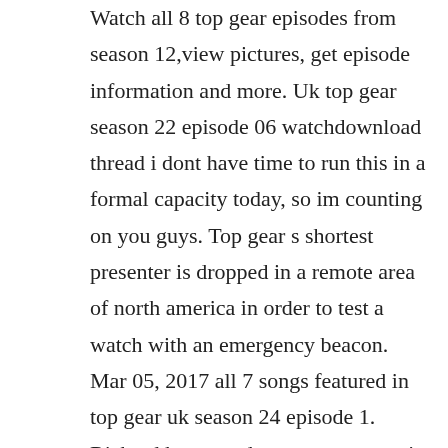Watch all 8 top gear episodes from season 12,view pictures, get episode information and more. Uk top gear season 22 episode 06 watchdownload thread i dont have time to run this in a formal capacity today, so im counting on you guys. Top gear s shortest presenter is dropped in a remote area of north america in order to test a watch with an emergency beacon. Mar 05, 2017 all 7 songs featured in top gear uk season 24 episode 1. Richard hammond goes to a mountain in canada to test a watch. Uk top gear season 22 episode 7 watchdownload thread once again im going to